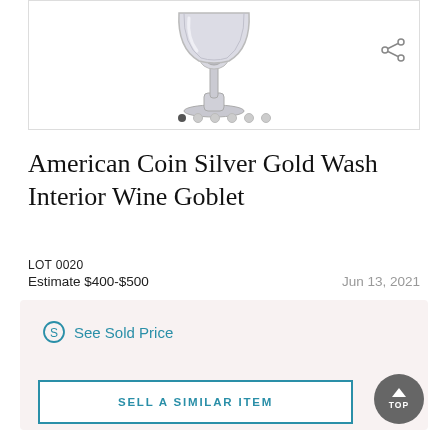[Figure (photo): Silver wine goblet product photo with navigation dots and share icon]
American Coin Silver Gold Wash Interior Wine Goblet
LOT 0020
Estimate $400-$500
Jun 13, 2021
See Sold Price
SELL A SIMILAR ITEM